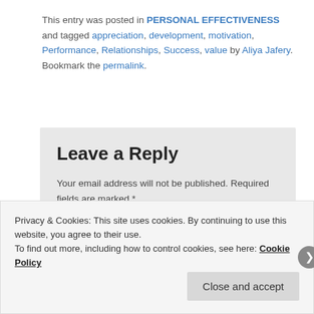This entry was posted in PERSONAL EFFECTIVENESS and tagged appreciation, development, motivation, Performance, Relationships, Success, value by Aliya Jafery. Bookmark the permalink.
Leave a Reply
Your email address will not be published. Required fields are marked *
Comment *
Privacy & Cookies: This site uses cookies. By continuing to use this website, you agree to their use.
To find out more, including how to control cookies, see here: Cookie Policy
Close and accept